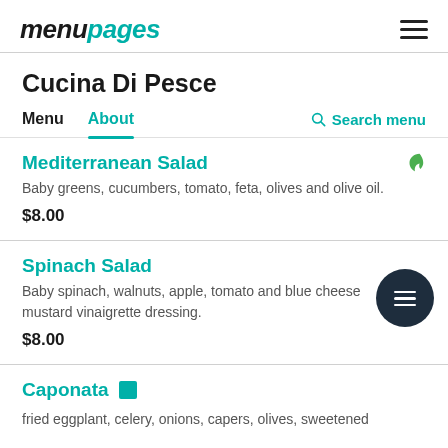menupages
Cucina Di Pesce
Menu  About  Search menu
Mediterranean Salad
Baby greens, cucumbers, tomato, feta, olives and olive oil.
$8.00
Spinach Salad
Baby spinach, walnuts, apple, tomato and blue cheese mustard vinaigrette dressing.
$8.00
Caponata 🟩
fried eggplant, celery, onions, capers, olives, sweetened